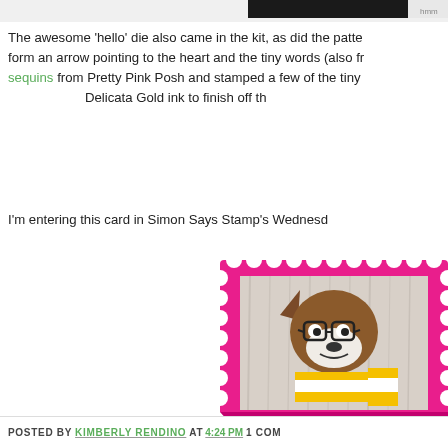[Figure (photo): Partial top image strip showing a dark object on light background]
The awesome 'hello' die also came in the kit, as did the patte... form an arrow pointing to the heart and the tiny words (also fr... sequins from Pretty Pink Posh and stamped a few of the tiny... Delicata Gold ink to finish off th...
I'm entering this card in Simon Says Stamp's Wednesd...
[Figure (logo): Simon Says Stamp Wednesday Challenge blog badge — pink postage stamp border containing a cartoon dog wearing glasses and a yellow striped scarf, with a banner reading SimonSaysStamp.com Wednesday Challeng... BLOG...]
POSTED BY KIMBERLY RENDINO AT 4:24 PM 1 COM...